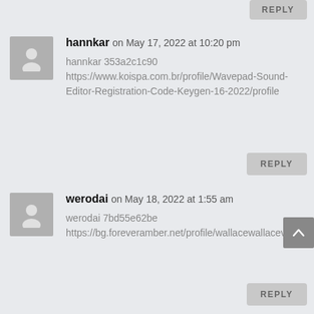REPLY
hannkar on May 17, 2022 at 10:20 pm
hannkar 353a2c1c90
https://www.koispa.com.br/profile/Wavepad-Sound-Editor-Registration-Code-Keygen-16-2022/profile
REPLY
werodai on May 18, 2022 at 1:55 am
werodai 7bd55e62be
https://bg.foreveramber.net/profile/wallacewallacevittoriah/profile
REPLY